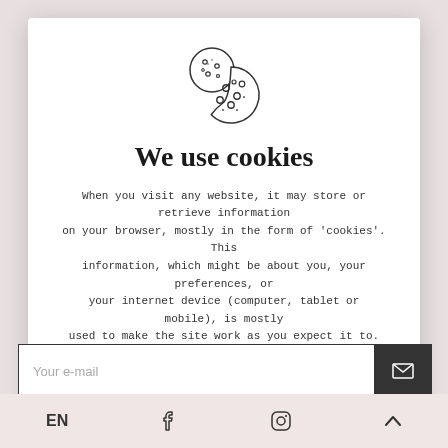[Figure (illustration): Cookie illustration — two overlapping round cookies with chocolate chips, one with a bite taken out, drawn in outline style]
We use cookies
When you visit any website, it may store or retrieve information on your browser, mostly in the form of 'cookies'. This information, which might be about you, your preferences, or your internet device (computer, tablet or mobile), is mostly used to make the site work as you expect it to.
More info  ACCEPT ALL
Your e-mail
I declare that I have read and understood the Privacy Policy...
EN  [facebook icon]  [instagram icon]  [chevron up icon]